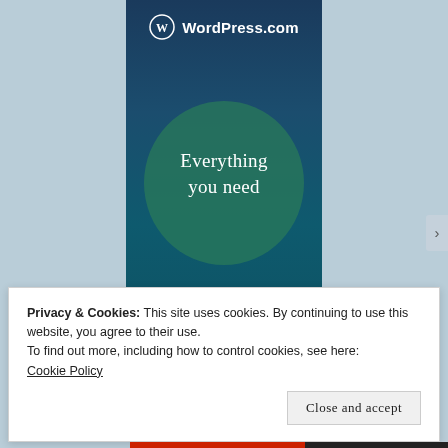[Figure (screenshot): WordPress.com advertisement panel on a blue-grey background. Shows WordPress.com logo at top, a teal/dark blue background with a large circle graphic and the text 'Everything you need' in white serif font, with a semi-transparent leaf/petal shape at the bottom.]
Privacy & Cookies: This site uses cookies. By continuing to use this website, you agree to their use.
To find out more, including how to control cookies, see here:
Cookie Policy
Close and accept